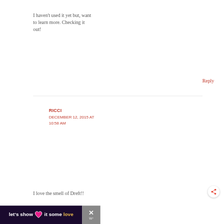I haven't used it yet but, want to learn more. Checking it out!
Reply
RICCI
DECEMBER 12, 2015 AT 10:58 AM
I love the smell of Dreft!!
[Figure (infographic): Dark purple ad banner with heart icon reading "let's show it some love" in white and gold text, with a close button on the right]